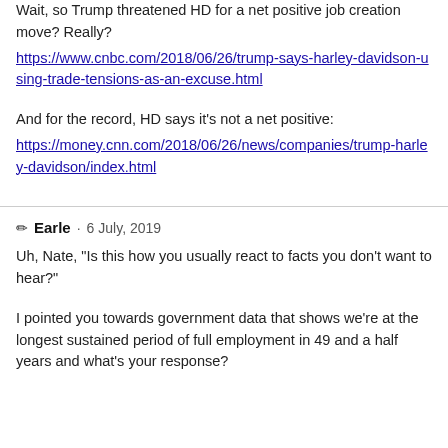Wait, so Trump threatened HD for a net positive job creation move? Really?
https://www.cnbc.com/2018/06/26/trump-says-harley-davidson-using-trade-tensions-as-an-excuse.html
And for the record, HD says it's not a net positive:
https://money.cnn.com/2018/06/26/news/companies/trump-harley-davidson/index.html
✏ Earle · 6 July, 2019
Uh, Nate, "Is this how you usually react to facts you don't want to hear?"
I pointed you towards government data that shows we're at the longest sustained period of full employment in 49 and a half years and what's your response?